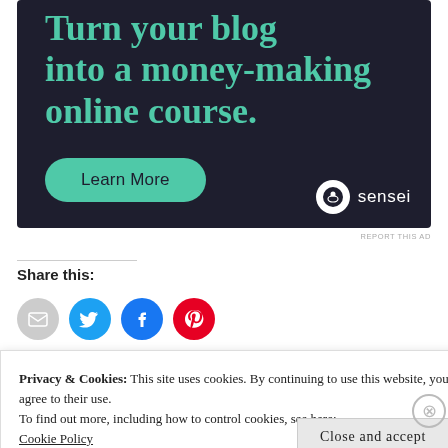[Figure (illustration): Advertisement banner with dark background. Text reads 'Turn your blog into a money-making online course.' with a teal 'Learn More' button and Sensei logo at bottom right.]
REPORT THIS AD
Share this:
[Figure (infographic): Four social share icon circles: gray email, blue Twitter, blue Facebook, red Pinterest]
Privacy & Cookies: This site uses cookies. By continuing to use this website, you agree to their use.
To find out more, including how to control cookies, see here:
Cookie Policy